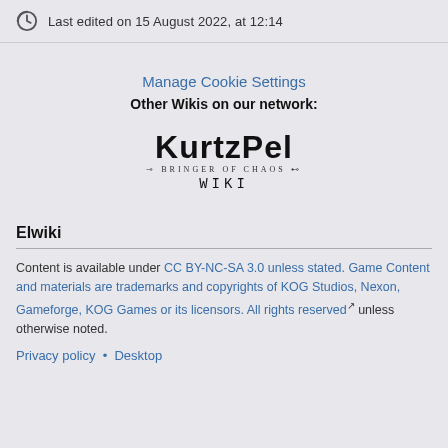Last edited on 15 August 2022, at 12:14
Manage Cookie Settings
Other Wikis on our network:
[Figure (logo): KurtzPel Bringer of Chaos Wiki logo with stylized text]
Elwiki
Content is available under CC BY-NC-SA 3.0 unless stated. Game Content and materials are trademarks and copyrights of KOG Studios, Nexon, Gameforge, KOG Games or its licensors. All rights reserved unless otherwise noted.
Privacy policy • Desktop